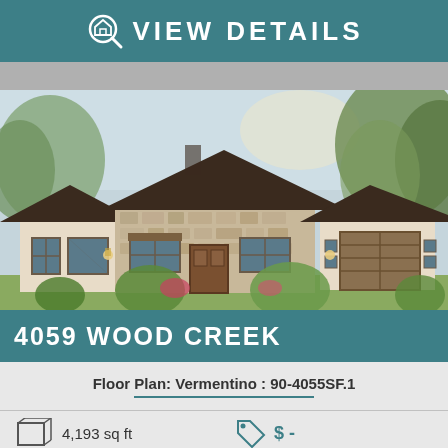VIEW DETAILS
[Figure (illustration): Rendered exterior illustration of a single-story stone and stucco house with dark roof, multiple gable peaks, large windows, attached garage, and landscaping with trees]
4059 WOOD CREEK
Floor Plan: Vermentino : 90-4055SF.1
4,193 sq ft
$ -